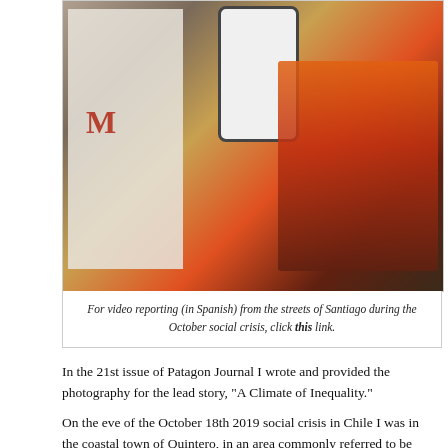[Figure (photo): A composite photograph showing a newspaper/magazine spread on the left, a smartphone screen showing a video call with a man in the center, and an image of a masked figure running through fire and smoke on the right, all on a wooden surface.]
For video reporting (in Spanish) from the streets of Santiago during the October social crisis, click this link.
In the 21st issue of Patagon Journal I wrote and provided the photography for the lead story, “A Climate of Inequality.”
On the eve of the October 18th 2019 social crisis in Chile I was in the coastal town of Quintero, in an area commonly referred to be Chileans as a zona de sacrifico (sacrifice zone). Quintero is very close to an industrial corridor where multiple coal power plants and a national copper smelter  have been linked to chronic and acute air pollution incidents. I was meeting the Durán family that day, who are being broken up as they struggle to relocate their son to safety after he began passing blood in his stool as a result of exposure to the contamination.